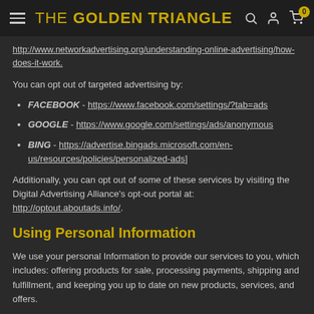THE GOLDEN TRIANGLE
http://www.networkadvertising.org/understanding-online-advertising/how-does-it-work.
You can opt out of targeted advertising by:
FACEBOOK - https://www.facebook.com/settings/?tab=ads
GOOGLE - https://www.google.com/settings/ads/anonymous
BING - https://advertise.bingads.microsoft.com/en-us/resources/policies/personalized-ads]
Additionally, you can opt out of some of these services by visiting the Digital Advertising Alliance's opt-out portal at: http://optout.aboutads.info/.
Using Personal Information
We use your personal Information to provide our services to you, which includes: offering products for sale, processing payments, shipping and fulfillment, and keeping you up to date on new products, services, and offers.